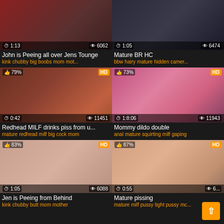[Figure (screenshot): Video thumbnail grid - adult video website showing 6 video thumbnails in 2 columns with titles and tags]
John is Peeing all over Jens Tounge
kink chubby big boobs mom mot...
Mature BR HC
bbw hairy mature hidden camer...
Redhead MILF drinks piss from u...
mature redhead milf big cock mom
Mommy dildo double
anal mature squirting milf gaping
Jen is Peeing from Behind
kink chubby butt mom mother
Mature pissing
mature milf pussy tight pussy mc...